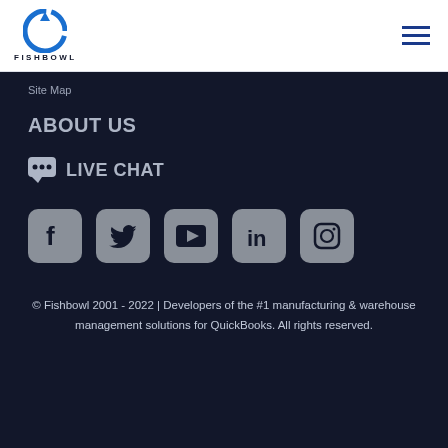[Figure (logo): Fishbowl logo: blue circular arrow icon above the text FISHBOWL in dark navy bold letters]
[Figure (other): Hamburger menu icon: three horizontal dark blue lines]
Site Map
ABOUT US
💬 LIVE CHAT
[Figure (other): Row of 5 social media icons in grey rounded-rectangle boxes: Facebook, Twitter, YouTube, LinkedIn, Instagram]
© Fishbowl 2001 - 2022 | Developers of the #1 manufacturing & warehouse management solutions for QuickBooks. All rights reserved.